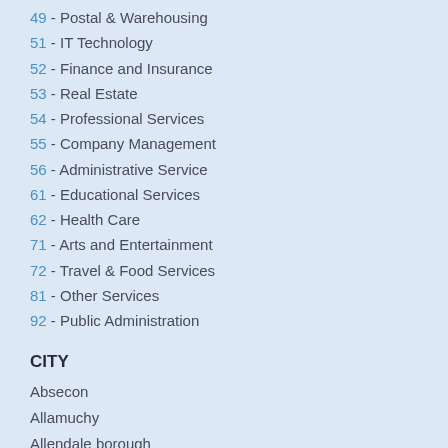49 - Postal & Warehousing
51 - IT Technology
52 - Finance and Insurance
53 - Real Estate
54 - Professional Services
55 - Company Management
56 - Administrative Service
61 - Educational Services
62 - Health Care
71 - Arts and Entertainment
72 - Travel & Food Services
81 - Other Services
92 - Public Administration
CITY
Absecon
Allamuchy
Allendale borough
Allenhurst borough